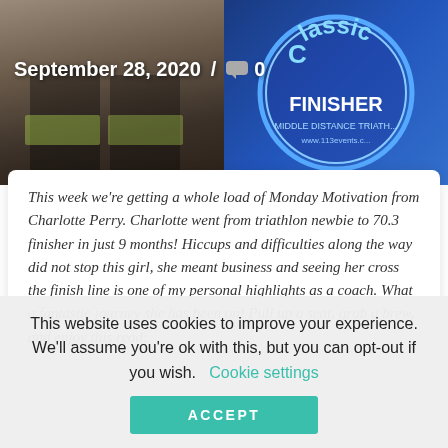[Figure (photo): Two photos side by side: left shows a triathlete's lower body in cycling gear at a race, right shows a blue circular finisher medal for a middle distance triathlon (Classic Finisher, www.113events.com)]
September 28, 2020  /  💬 0
This week we're getting a whole load of Monday Motivation from Charlotte Perry. Charlotte went from triathlon newbie to 70.3 finisher in just 9 months! Hiccups and difficulties along the way did not stop this girl, she meant business and seeing her cross the finish line is one of my personal highlights as a coach. What a fantastic journey she has been on! Pull up a seat, grab a brew, and enjoy this read:
This website uses cookies to improve your experience. We'll assume you're ok with this, but you can opt-out if you wish.   Cookie settings
ACCEPT